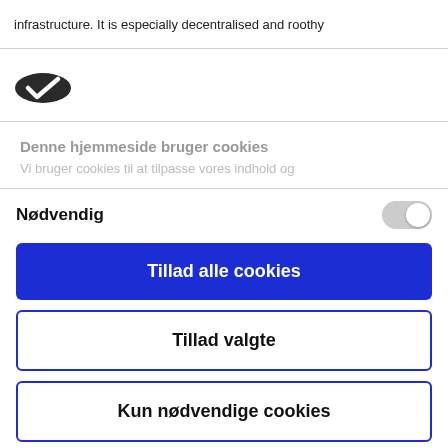infrastructure. It is especially decentralised and roothy
[Figure (logo): Cookiebot logo — dark oval shape with white checkmark]
Denne hjemmeside bruger cookies
Vi bruger cookies til at tilpasse vores indhold og
Nødvendig
Tillad alle cookies
Tillad valgte
Kun nødvendige cookies
Powered by Cookiebot by Usercentrics